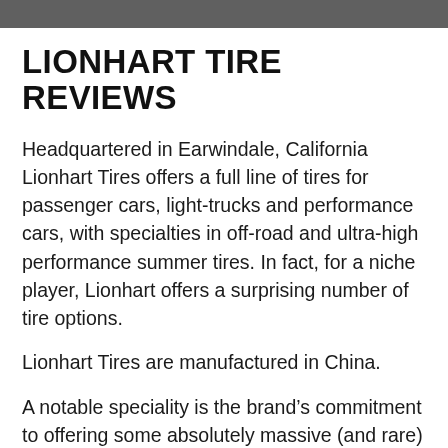[Figure (photo): Dark/blurred photo strip at top of page]
LIONHART TIRE REVIEWS
Headquartered in Earwindale, California Lionhart Tires offers a full line of tires for passenger cars, light-trucks and performance cars, with specialties in off-road and ultra-high performance summer tires. In fact, for a niche player, Lionhart offers a surprising number of tire options.
Lionhart Tires are manufactured in China.
A notable speciality is the brand's commitment to offering some absolutely massive (and rare) fitments for aftermarket applications, with tires ranging all the way from 14-inches all the way up